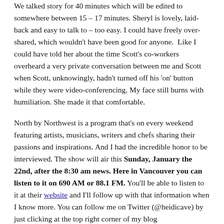We talked story for 40 minutes which will be edited to somewhere between 15 – 17 minutes. Sheryl is lovely, laid-back and easy to talk to – too easy. I could have freely over-shared, which wouldn't have been good for anyone.  Like I could have told her about the time Scott's co-workers overheard a very private conversation between me and Scott when Scott, unknowingly, hadn't turned off his 'on' button while they were video-conferencing. My face still burns with humiliation. She made it that comfortable.
North by Northwest is a program that's on every weekend featuring artists, musicians, writers and chefs sharing their passions and inspirations. And I had the incredible honor to be interviewed. The show will air this Sunday, January the 22nd, after the 8:30 am news. Here in Vancouver you can listen to it on 690 AM or 88.1 FM. You'll be able to listen to it at their website and I'll follow up with that information when I know more. You can follow me on Twitter (@heidicave) by just clicking at the top right corner of my blog